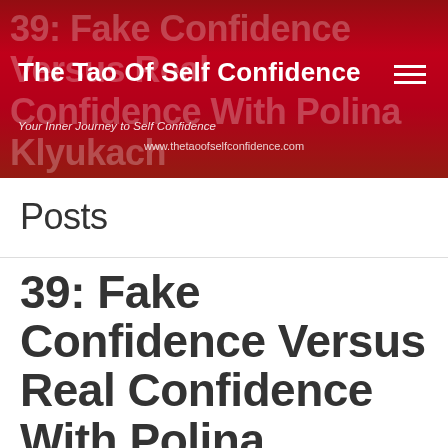[Figure (screenshot): Website header banner with dark red background and faint watermark text reading '39: Fake Confidence Versus Real Confidence With Polina Klyukach', site title 'The Tao Of Self Confidence', hamburger menu icon, tagline 'Your Inner Journey to Self Confidence', and URL 'www.thetaoofselfconfidence.com']
Posts
39: Fake Confidence Versus Real Confidence With Polina Klyukach